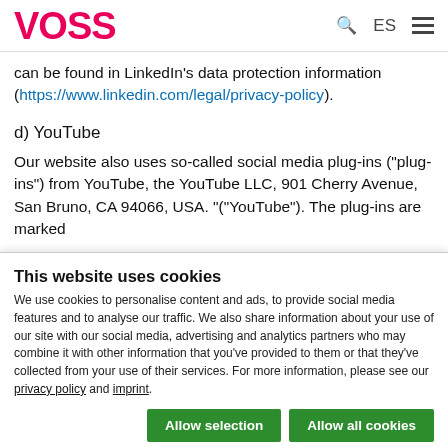VOSS
can be found in LinkedIn's data protection information (https://www.linkedin.com/legal/privacy-policy).
d) YouTube
Our website also uses so-called social media plug-ins ("plug-ins") from YouTube, the YouTube LLC, 901 Cherry Avenue, San Bruno, CA 94066, USA. "("YouTube"). The plug-ins are marked
This website uses cookies
We use cookies to personalise content and ads, to provide social media features and to analyse our traffic. We also share information about your use of our site with our social media, advertising and analytics partners who may combine it with other information that you've provided to them or that they've collected from your use of their services. For more information, please see our privacy policy and imprint.